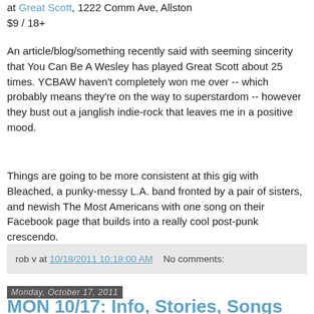at Great Scott, 1222 Comm Ave, Allston
$9 / 18+
An article/blog/something recently said with seeming sincerity that You Can Be A Wesley has played Great Scott about 25 times. YCBAW haven't completely won me over -- which probably means they're on the way to superstardom -- however they bust out a janglish indie-rock that leaves me in a positive mood.
Things are going to be more consistent at this gig with Bleached, a punky-messy L.A. band fronted by a pair of sisters, and newish The Most Americans with one song on their Facebook page that builds into a really cool post-punk crescendo.
rob v at 10/18/2011 10:18:00 AM    No comments:
Monday, October 17, 2011
MON 10/17: Info, Stories, Songs